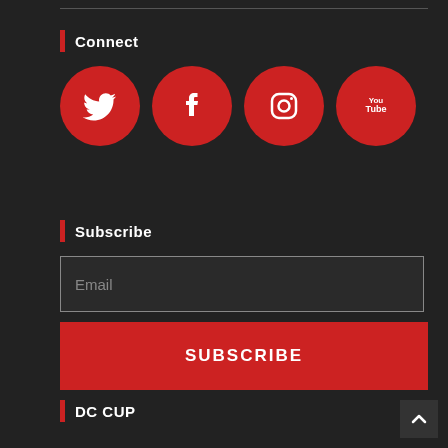Connect
[Figure (illustration): Four red circular social media icons: Twitter (bird), Facebook (f), Instagram (camera), YouTube (play button with 'You Tube' text)]
Subscribe
Email
SUBSCRIBE
DC CUP